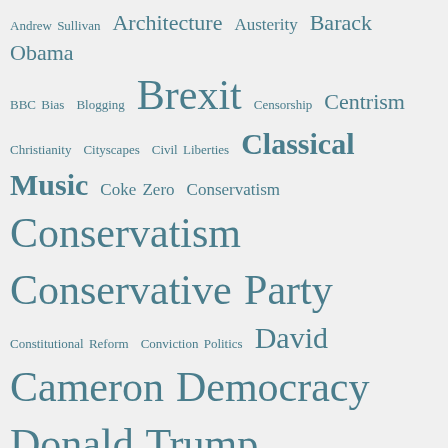[Figure (other): Tag cloud with political and cultural topics in various font sizes, all in a steel blue/teal color on light grey background. Topics include Brexit, EU Referendum, Conservatism, Conservative Party, Donald Trump, Jeremy Corbyn, and many others.]